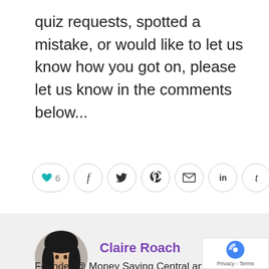quiz requests, spotted a mistake, or would like to let us know how you got on, please let us know in the comments below...
[Figure (other): Social sharing buttons row: heart/like button with count 6, facebook, twitter, pinterest, email, linkedin, tumblr]
[Figure (photo): Author profile photo of Claire Roach, a woman with dark hair]
Claire Roach
Founder @ Money Saving Central and